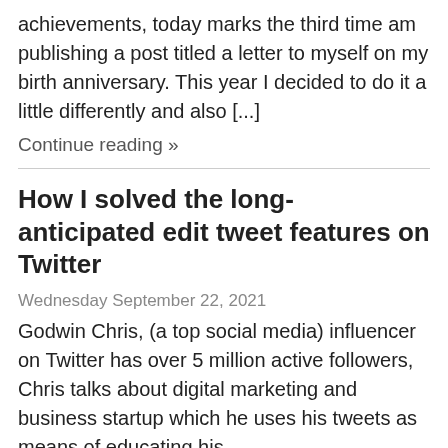achievements, today marks the third time am publishing a post titled a letter to myself on my birth anniversary. This year I decided to do it a little differently and also [...]
Continue reading »
How I solved the long-anticipated edit tweet features on Twitter
Wednesday September 22, 2021
Godwin Chris, (a top social media) influencer on Twitter has over 5 million active followers, Chris talks about digital marketing and business startup which he uses his tweets as means of educating his